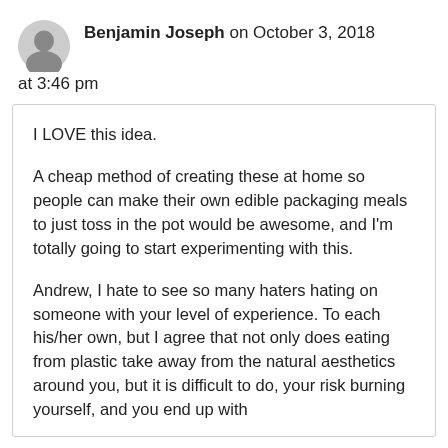Benjamin Joseph on October 3, 2018 at 3:46 pm
I LOVE this idea.

A cheap method of creating these at home so people can make their own edible packaging meals to just toss in the pot would be awesome, and I'm totally going to start experimenting with this.

Andrew, I hate to see so many haters hating on someone with your level of experience. To each his/her own, but I agree that not only does eating from plastic take away from the natural aesthetics around you, but it is difficult to do, your risk burning yourself, and you end up with